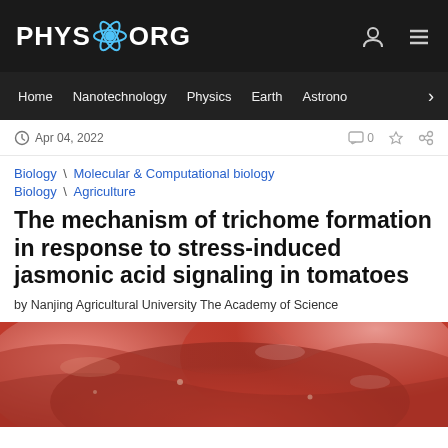PHYS.ORG
Home | Nanotechnology | Physics | Earth | Astronomy
Apr 04, 2022
Biology \ Molecular & Computational biology
Biology \ Agriculture
The mechanism of trichome formation in response to stress-induced jasmonic acid signaling in tomatoes
by Nanjing Agricultural University The Academy of Science
[Figure (photo): Close-up photo of sliced red tomatoes]